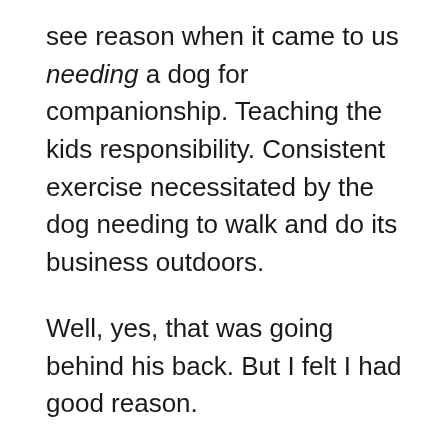see reason when it came to us needing a dog for companionship. Teaching the kids responsibility. Consistent exercise necessitated by the dog needing to walk and do its business outdoors.
Well, yes, that was going behind his back. But I felt I had good reason.
They were three very different dogs. The first one, Lucky, came to us because my oldest had just began high school and was feeling a little blue about it. She'd answered a “free to good home” ad in the paper.
What they didn't say was that the dog had mange